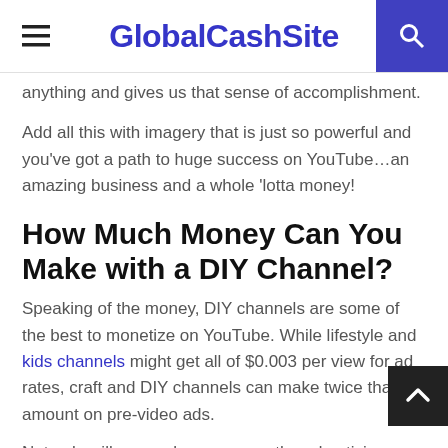GlobalCashSite
anything and gives us that sense of accomplishment.
Add all this with imagery that is just so powerful and you've got a path to huge success on YouTube…an amazing business and a whole 'lotta money!
How Much Money Can You Make with a DIY Channel?
Speaking of the money, DIY channels are some of the best to monetize on YouTube. While lifestyle and kids channels might get all of $0.003 per view for ad rates, craft and DIY channels can make twice that amount on pre-video ads.
Not only will you make money on the advertising before